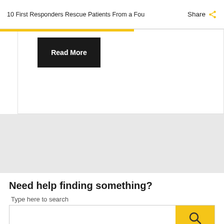10 First Responders Rescue Patients From a Fou
Share
[Figure (screenshot): Black Read More button on card area with yellow accent bar below navigation]
Need help finding something?
Type here to search